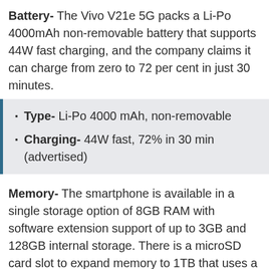Battery- The Vivo V21e 5G packs a Li-Po 4000mAh non-removable battery that supports 44W fast charging, and the company claims it can charge from zero to 72 per cent in just 30 minutes.
Type- Li-Po 4000 mAh, non-removable
Charging- 44W fast, 72% in 30 min (advertised)
Memory- The smartphone is available in a single storage option of 8GB RAM with software extension support of up to 3GB and 128GB internal storage. There is a microSD card slot to expand memory to 1TB that uses a shared SIM slot.
Internal- 128GB, expandable up to 1TB